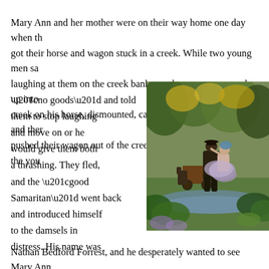Mary Ann and her mother were on their way home one day when th got their horse and wagon stuck in a creek. While two young men sa laughing at them on the creek bank, another young man rode up into creek on his horse, dismounted, carried the ladies to safety, and ther pushed their wagon out of the creek. He then walked over to the you “no goods” and told them to stop laughing and move on or he would give them both a thrashing. They fled, and the “good Samaritan” went back and introduced himself to the damsels in distress. His name was Nathan Bedford Forrest, and he desperately wanted to see Mary Ann again.
[Figure (illustration): A painting depicting a man in period clothing carrying a woman across a creek or stream. A horse and wagon are visible in the background surrounded by trees and foliage.]
The next week, Forrest rode out to the Montgomery place and began